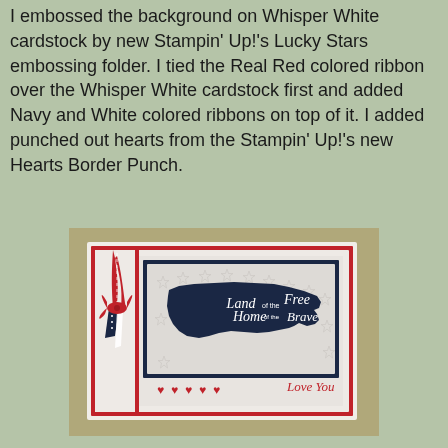I embossed the background on Whisper White cardstock by new Stampin' Up!'s Lucky Stars embossing folder. I tied the Real Red colored ribbon over the Whisper White cardstock first and added Navy and White colored ribbons on top of it. I added punched out hearts from the Stampin' Up!'s new Hearts Border Punch.
[Figure (photo): A handmade patriotic greeting card featuring a US map silhouette in navy blue with the text 'Land of the Free Home of the Brave' in white script. The card has red and white borders, a red bow with navy ribbon on the left side, embossed stars on a white background, and 'Love You' in red script at the bottom right with four red hearts.]